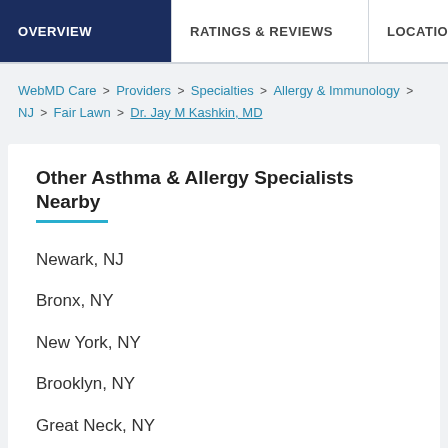OVERVIEW | RATINGS & REVIEWS | LOCATIONS | EX
WebMD Care > Providers > Specialties > Allergy & Immunology > NJ > Fair Lawn > Dr. Jay M Kashkin, MD
Other Asthma & Allergy Specialists Nearby
Newark, NJ
Bronx, NY
New York, NY
Brooklyn, NY
Great Neck, NY
Asthma & Allergy Specialists Nearby by